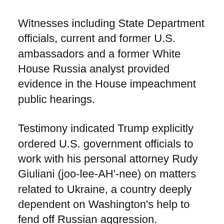Witnesses including State Department officials, current and former U.S. ambassadors and a former White House Russia analyst provided evidence in the House impeachment public hearings.
Testimony indicated Trump explicitly ordered U.S. government officials to work with his personal attorney Rudy Giuliani (joo-lee-AH'-nee) on matters related to Ukraine, a country deeply dependent on Washington's help to fend off Russian aggression.
But Trump says he was only holding back aid to root out corruption in Ukraine.